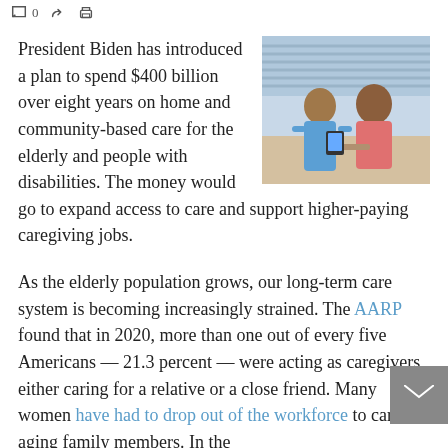0
[Figure (photo): A healthcare worker in blue scrubs sitting beside an elderly man, appearing to take his blood pressure or provide care in a home setting.]
President Biden has introduced a plan to spend $400 billion over eight years on home and community-based care for the elderly and people with disabilities. The money would go to expand access to care and support higher-paying caregiving jobs.
As the elderly population grows, our long-term care system is becoming increasingly strained. The AARP found that in 2020, more than one out of every five Americans — 21.3 percent — were acting as caregivers, either caring for a relative or a close friend. Many women have had to drop out of the workforce to care for aging family members. In the